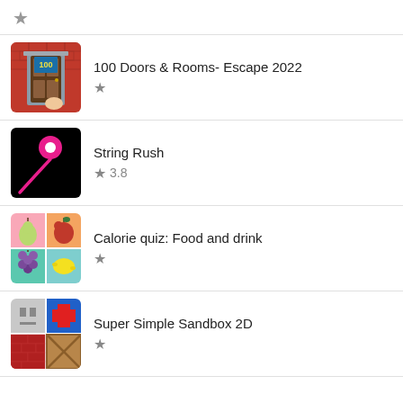[Figure (screenshot): Star/bookmark icon at top]
100 Doors & Rooms- Escape 2022
String Rush, rating 3.8
Calorie quiz: Food and drink
Super Simple Sandbox 2D